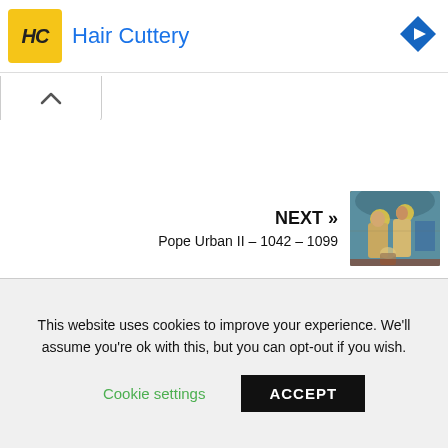[Figure (logo): Hair Cuttery advertisement banner with yellow logo square showing 'HC' letters and the text 'Hair Cuttery' in blue, with a blue navigation diamond icon on the right]
[Figure (other): Collapse/chevron up arrow tab button]
NEXT » Pope Urban II – 1042 – 1099
[Figure (photo): Stained glass image of Pope Urban II and other religious figures]
This website uses cookies to improve your experience. We'll assume you're ok with this, but you can opt-out if you wish.
Cookie settings   ACCEPT